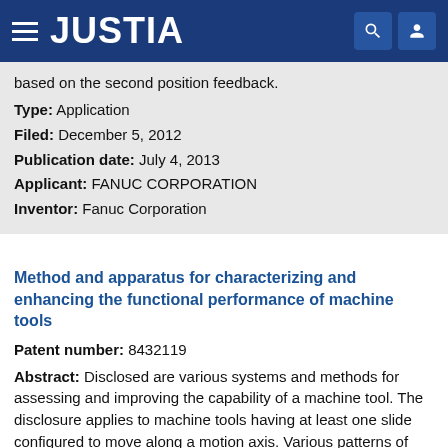JUSTIA
based on the second position feedback.
Type: Application
Filed: December 5, 2012
Publication date: July 4, 2013
Applicant: FANUC CORPORATION
Inventor: Fanuc Corporation
Method and apparatus for characterizing and enhancing the functional performance of machine tools
Patent number: 8432119
Abstract: Disclosed are various systems and methods for assessing and improving the capability of a machine tool. The disclosure applies to machine tools having at least one slide configured to move along a motion axis. Various patterns of dynamic excitation commands are employed to drive the one or more slides, typically